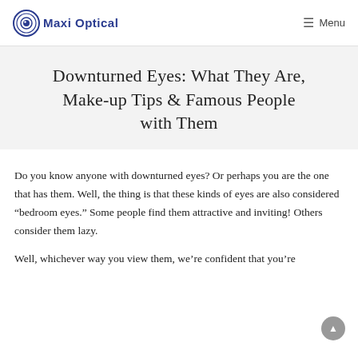Maxi Optical | Menu
Downturned Eyes: What They Are, Make-up Tips & Famous People with Them
Do you know anyone with downturned eyes? Or perhaps you are the one that has them. Well, the thing is that these kinds of eyes are also considered “bedroom eyes.” Some people find them attractive and inviting! Others consider them lazy.
Well, whichever way you view them, we’re confident that you’re